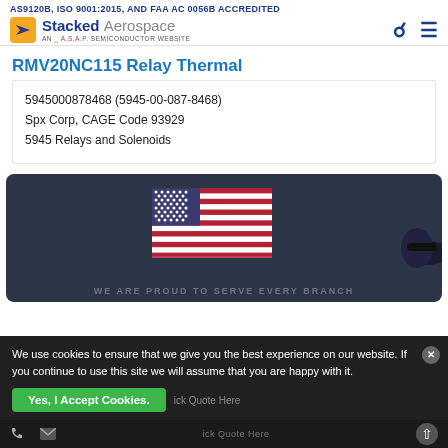AS9120B, ISO 9001:2015, AND FAA AC 0056B ACCREDITED
[Figure (logo): Stacked Aerospace logo - An A.S.A.P. Semiconductor Website, with search and menu icons]
RMV20NC115 Relay Thermal
5945000878468 (5945-00-087-8468)
Spx Corp, CAGE Code 93929
5945 Relays and Solenoids
[Figure (photo): Dark banner with American flag in center and aircraft silhouette on right, partially obscured by cookie consent overlay]
We use cookies to ensure that we give you the best experience on our website. If you continue to use this site we will assume that you are happy with it.
Yes, I Accept Cookies.